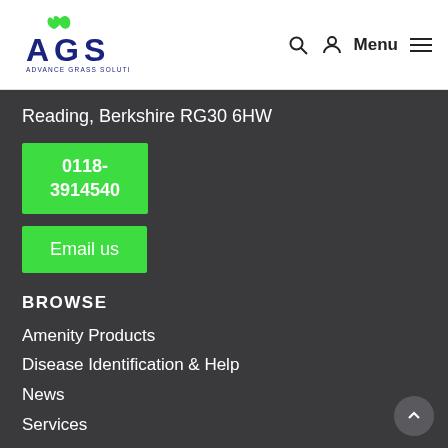[Figure (logo): AGS Advance Grass Solutions logo — green stylized letters AGS with green leaf/flame accent, company name in blue]
Menu navigation header with search icon, user icon, Menu text and hamburger icon
Reading, Berkshire RG30 6HW
0118-3914540
Email us
BROWSE
Amenity Products
Disease Identification & Help
News
Services